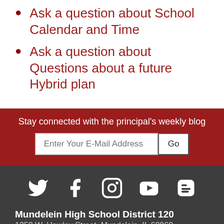Ask a question about School Calendar and Time
Ask a question about Questions about a future Hybrid plan
Stay connected with the principal's weekly blog
Enter Your E-Mail Address  Go
[Figure (infographic): Social media icons: Twitter, Facebook, Instagram, YouTube, Blogger]
Mundelein High School District 120
1350 W. Hawley Street, Mundelein, IL 60060
847-949-2200